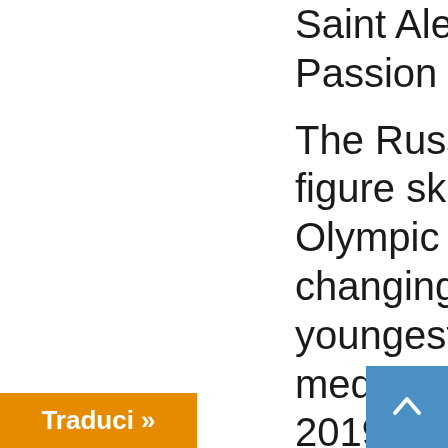Saint Alexandra the Passion Bearer.

The Russian professional figure skater received an Olympic gold at 15, thus changing into the youngest Russian gold medalist in history. At the 2019 Glamour Russia Awards, Alina Zagitova was named Sportswoman of the Year. One of Time's 30 Legends of Women's Tennis,
[Figure (other): Orange button with text 'Traduci »' (translate button)]
[Figure (other): Blue square button with upward chevron arrow (scroll-to-top button)]